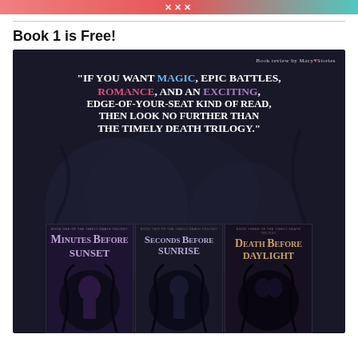[Figure (illustration): Pink and teal banner strip with white X/cross symbols]
Book 1 is Free!
[Figure (photo): Dark promotional image for The Timely Death Trilogy showing a quote: "If you want magic, epic battles, romance, and an exciting, edge-of-your-seat kind of read, then look no further than The Timely Death Trilogy." with three book covers at the bottom: Minutes Before Sunset, Seconds Before Sunrise, Death Before Daylight. Credited to Book review by Macy♥Stories.]